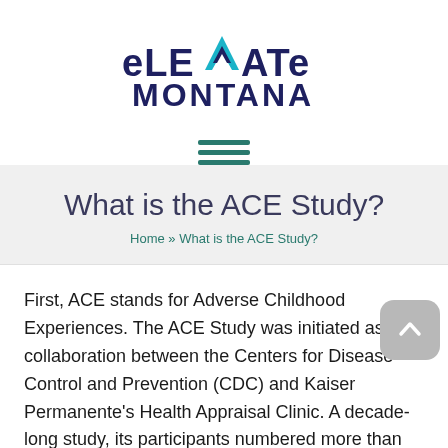[Figure (logo): eLEVATe Montana logo with blue and dark navy stylized text and chevron/mountain graphic]
[Figure (other): Hamburger menu icon with three teal horizontal lines]
What is the ACE Study?
Home » What is the ACE Study?
First, ACE stands for Adverse Childhood Experiences. The ACE Study was initiated as a collaboration between the Centers for Disease Control and Prevention (CDC) and Kaiser Permanente's Health Appraisal Clinic. A decade-long study, its participants numbered more than 17,000 members that underwent a comprehensive